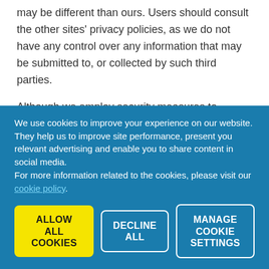may be different than ours. Users should consult the other sites' privacy policies, as we do not have any control over any information that may be submitted to, or collected by such third parties.
Although we employ security measures to prevent unauthorized access to information we collect online, we cannot guarantee the privacy of personal data you transmit over the web, or that may be collected in transit
We use cookies to improve your experience on our website. They help us to improve site performance, present you relevant advertising and enable you to share content in social media.
For more information related to the cookies, please visit our cookie policy.